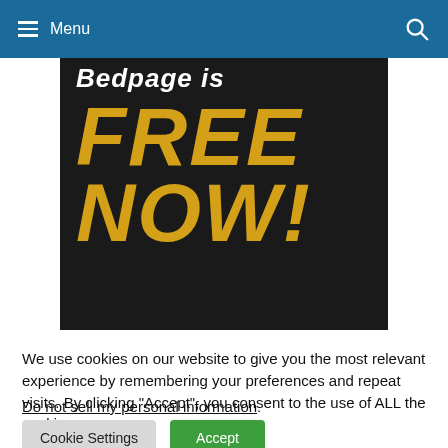Menu
[Figure (illustration): Dark banner with white italic text 'Bedpage is' at top and large gold bold italic text 'FREE NOW!' below on black background]
We use cookies on our website to give you the most relevant experience by remembering your preferences and repeat visits. By clicking “Accept”, you consent to the use of ALL the cookies.
Do not sell my personal information.